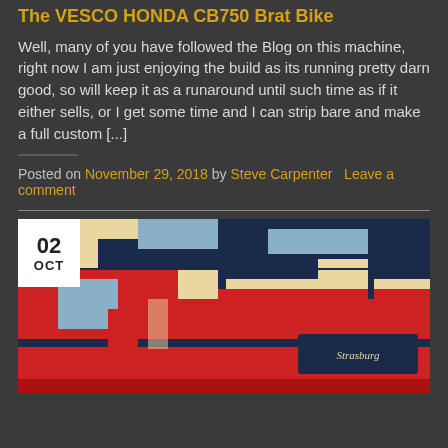The VESCO HONDA CB750 Brat Bike
Well, many of you have followed the Blog on this machine, right now I am just enjoying the build as its running pretty darn good, so will keep it as a runaround until such time as if it either sells, or I get some time and I can strip bare and make a full custom [...]
Posted on November 29, 2018 by Steve Carpenter   Leave a comment
[Figure (photo): Stylized pop-art style image of a motorcycle or garage scene with red, blue, cream and dark blue colors. A date badge showing '02 OCT' overlaps the top-left corner.]